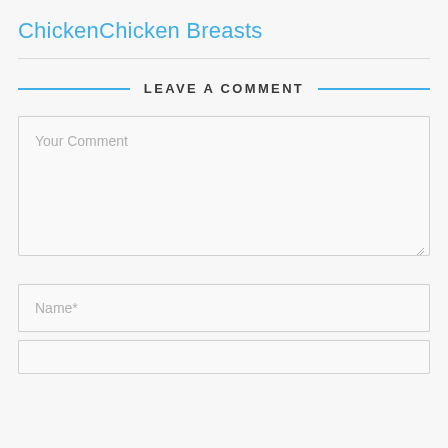ChickenChicken Breasts
LEAVE A COMMENT
Your Comment
Name*